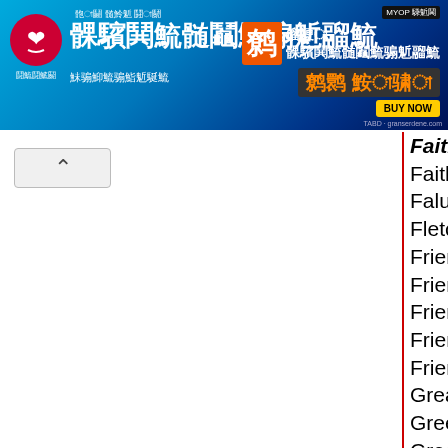[Figure (other): Advertisement banner in Bengali language for a telecom company offering unlimited internet at 38 taka for 3 hours, with a Buy Now button.]
Faith and Family Films
Faith Assembly of God Bethel Vermont
Falun Dafa Association of New England
Fletcher Memorial Library
Friends of Music at Guilford, Inc.
Friends of the Morrill Homestead
Friends of the Morrill Homestead
Friends of the Operahouse at Enosburg
Friends of the Waterbury Library
Great Falls Regional Chamber of Commerce
Green Mountain Animal Defenders
Green Mountain Youth Symphony
Killington Arts Guild
Lyric Theatre Company
Mad River Chorale Inc.
Memorial Hall Center for the Arts
Memphremagog Arts Collaborative Inc
Middletown Springs Historical Society
Newfane Church
Northwestern Counseling & Support Services
NWV Model Railroad Association
Okemo Mountain School